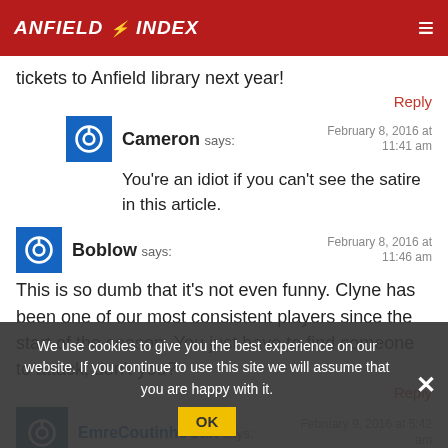ANFIELD INDEX
tickets to Anfield library next year!
Reply
Cameron says: February 8, 2016 at 11:41 am
You’re an idiot if you can’t see the satire in this article.
Boblow says: February 8, 2016 at 11:46 am
This is so dumb that it’s not even funny. Clyne has been one of our most consistent players since the start of the season. You just have to find someone to attack, don’t you?
Reply
EmreCoutinhoCan says: February 9, 2016 at 5:42 am
Got to agree, Clyne has been one of the few bright lights
We use cookies to give you the best experience on our website. If you continue to use this site we will assume that you are happy with it. OK